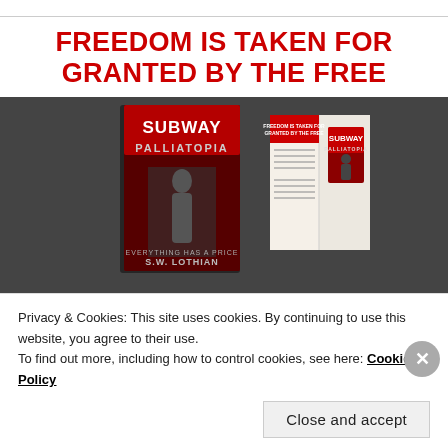FREEDOM IS TAKEN FOR GRANTED BY THE FREE
[Figure (photo): Book cover and digital edition of 'Subway Palliatopia' by S.W. Lothian displayed against a dark textured background. Shows physical book with a young man in a subway, tagline 'Everything has a price', alongside an open book/tablet showing the same cover.]
Privacy & Cookies: This site uses cookies. By continuing to use this website, you agree to their use.
To find out more, including how to control cookies, see here: Cookie Policy
Close and accept